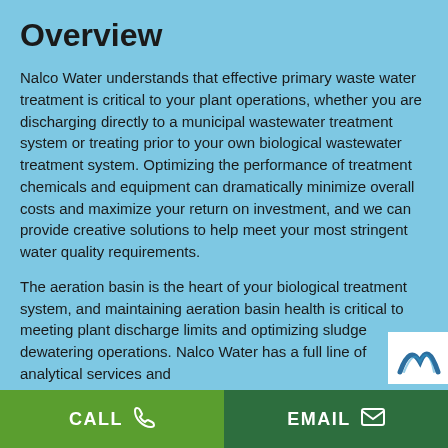Overview
Nalco Water understands that effective primary waste water treatment is critical to your plant operations, whether you are discharging directly to a municipal wastewater treatment system or treating prior to your own biological wastewater treatment system. Optimizing the performance of treatment chemicals and equipment can dramatically minimize overall costs and maximize your return on investment, and we can provide creative solutions to help meet your most stringent water quality requirements.
The aeration basin is the heart of your biological treatment system, and maintaining aeration basin health is critical to meeting plant discharge limits and optimizing sludge dewatering operations. Nalco Water has a full line of analytical services and
CALL   EMAIL